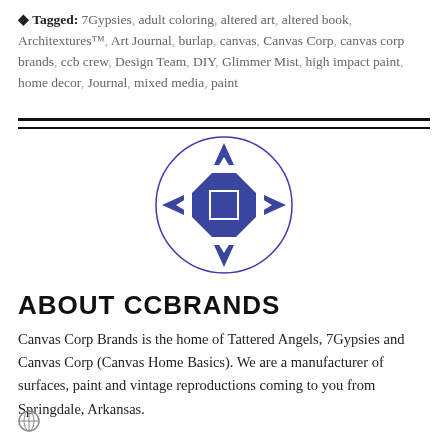Tagged: 7Gypsies, adult coloring, altered art, altered book, Architextures™, Art Journal, burlap, canvas, Canvas Corp, canvas corp brands, ccb crew, Design Team, DIY, Glimmer Mist, high impact paint, home decor, Journal, mixed media, paint
[Figure (logo): Canvas Corp Brands circular logo with blue cross/star geometric shape on white background]
ABOUT CCBRANDS
Canvas Corp Brands is the home of Tattered Angels, 7Gypsies and Canvas Corp (Canvas Home Basics). We are a manufacturer of surfaces, paint and vintage reproductions coming to you from Springdale, Arkansas.
[Figure (logo): Small globe/web icon]